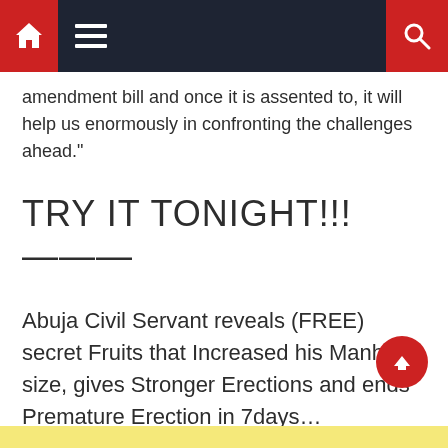Navigation bar with home, menu, and search icons
amendment bill and once it is assented to, it will help us enormously in confronting the challenges ahead.”
TRY IT TONIGHT!!! ———
Abuja Civil Servant reveals (FREE) secret Fruits that Increased his Manh0d size, gives Stronger Erections and ends Premature Erection in 7days…
CLICK HERE FOR FULL DETAILS.